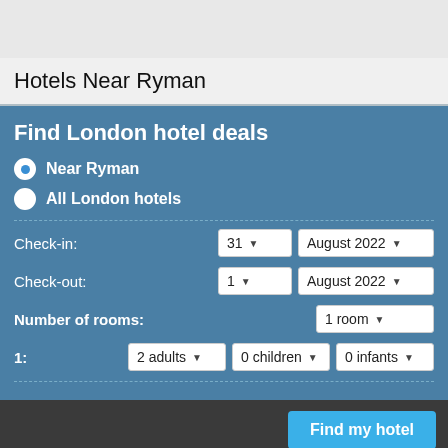Hotels Near Ryman
Find London hotel deals
Near Ryman
All London hotels
Check-in: 31 August 2022
Check-out: 1 August 2022
Number of rooms: 1 room
1: 2 adults 0 children 0 infants
Find my hotel